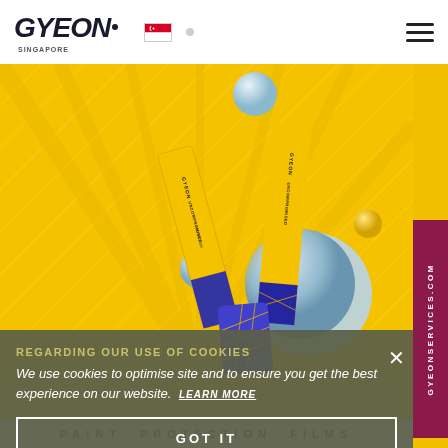[Figure (screenshot): GYEON Singapore website header with logo, Singapore flag, and hamburger menu]
[Figure (photo): Product photo of GYEON car care products (tubes/boxes) in yellow and blue/purple packaging with decorative spheres on yellow background]
REGARDING OUR USE OF COOKIES
We use cookies to optimise site and to ensure you get the best experience on our website. LEARN MORE
GOT IT
PAINT PROTECTION FILMS
GYEONSERVICES.COM